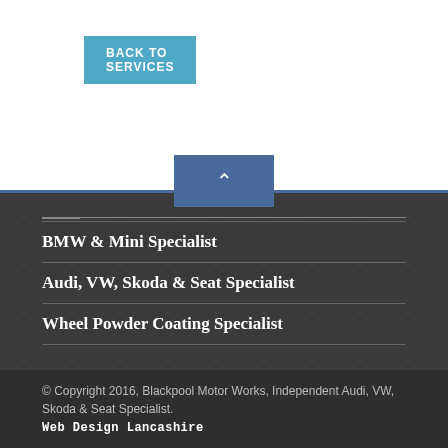BACK TO SERVICES
BMW & Mini Specialist
Audi, VW, Skoda & Seat Specialist
Wheel Powder Coating Specialist
© Copyright 2016, Blackpool Motor Works, Independent Audi, VW, Skoda & Seat Specialist. Web Design Lancashire